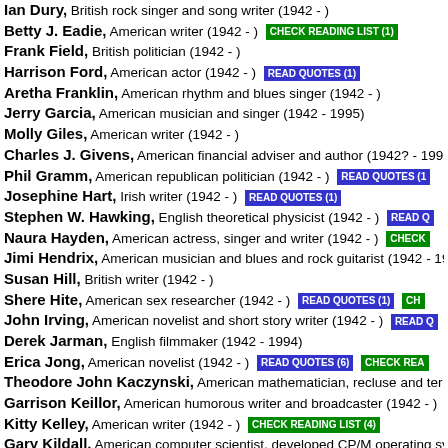Ian Dury, British rock singer and song writer (1942 - )
Betty J. Eadie, American writer (1942 - ) CHECK READING LIST (1)
Frank Field, British politician (1942 - )
Harrison Ford, American actor (1942 - ) READ QUOTES (1)
Aretha Franklin, American rhythm and blues singer (1942 - )
Jerry Garcia, American musician and singer (1942 - 1995)
Molly Giles, American writer (1942 - )
Charles J. Givens, American financial adviser and author (1942? - 199...
Phil Gramm, American republican politician (1942 - ) READ QUOTES (1)
Josephine Hart, Irish writer (1942 - ) READ QUOTES (1)
Stephen W. Hawking, English theoretical physicist (1942 - ) READ Q...
Naura Hayden, American actress, singer and writer (1942 - ) CHECK...
Jimi Hendrix, American musician and blues and rock guitarist (1942 - 19...
Susan Hill, British writer (1942 - )
Shere Hite, American sex researcher (1942 - ) READ QUOTES (1) CH...
John Irving, American novelist and short story writer (1942 - ) READ Q...
Derek Jarman, English filmmaker (1942 - 1994)
Erica Jong, American novelist (1942 - ) READ QUOTES (6) CHECK REA...
Theodore John Kaczynski, American mathematician, recluse and ter...
Garrison Keillor, American humorous writer and broadcaster (1942 - )
Kitty Kelley, American writer (1942 - ) CHECK READING LIST (4)
Gary Kildall, American computer scientist, developed CP/M operating sy...
Neil Kinnock, Welsh politician (1942 - )
Robert Klein, American comedian and writer (1942 - )
Norman Lamont, British politician (1942 - )